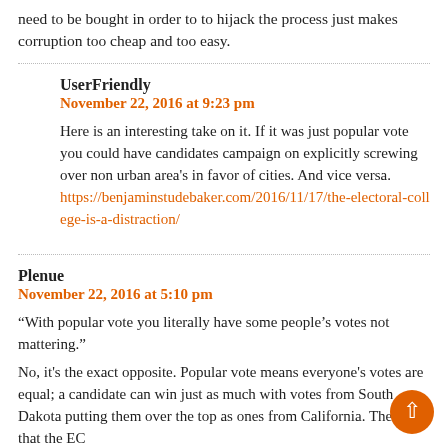need to be bought in order to to hijack the process just makes corruption too cheap and too easy.
UserFriendly
November 22, 2016 at 9:23 pm

Here is an interesting take on it. If it was just popular vote you could have candidates campaign on explicitly screwing over non urban area's in favor of cities. And vice versa.
https://benjaminstudebaker.com/2016/11/17/the-electoral-college-is-a-distraction/
Plenue
November 22, 2016 at 5:10 pm

“With popular vote you literally have some people’s votes not mattering.”

No, it's the exact opposite. Popular vote means everyone's votes are equal; a candidate can win just as much with votes from South Dakota putting them over the top as ones from California. The idea that the EC